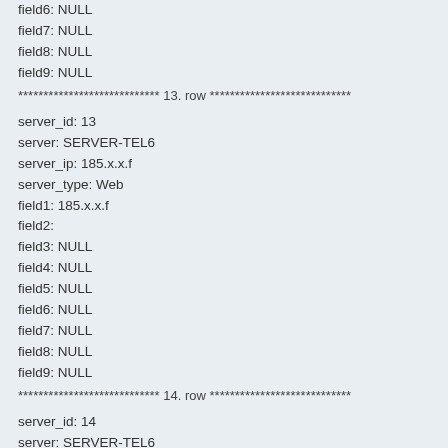field6: NULL
field7: NULL
field8: NULL
field9: NULL
**************************** 13. row ****************************
server_id: 13
server: SERVER-TEL6
server_ip: 185.x.x.f
server_type: Web
field1: 185.x.x.f
field2:
field3: NULL
field4: NULL
field5: NULL
field6: NULL
field7: NULL
field8: NULL
field9: NULL
**************************** 14. row ****************************
server_id: 14
server: SERVER-TEL6
server_ip: 185.x.x.f
server_type: Telephony
field1: 185.x.x.f